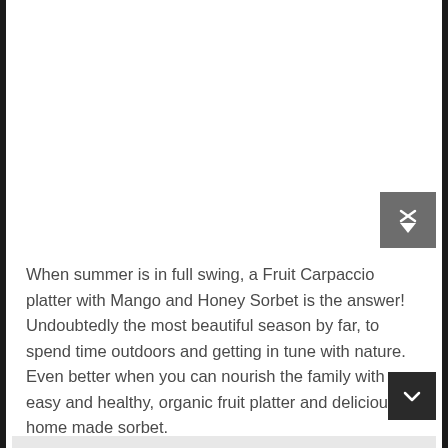[Figure (photo): Large food/recipe photo placeholder at top of page (white/empty area)]
[Figure (logo): Small grey badge/icon with an X and downward-pointing shield shape in dark grey]
When summer is in full swing, a Fruit Carpaccio platter with Mango and Honey Sorbet is the answer!  Undoubtedly the most beautiful season by far, to spend time outdoors and getting in tune with nature. Even better when you can nourish the family with an easy and healthy, organic fruit platter and delicious home made sorbet.